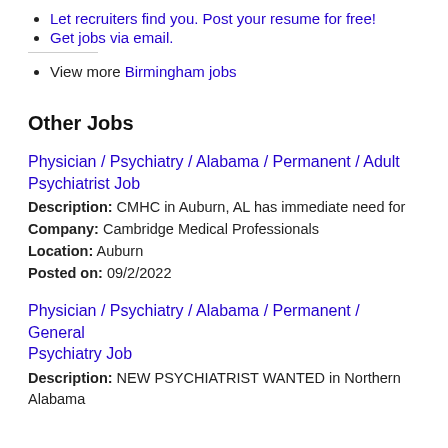Let recruiters find you. Post your resume for free!
Get jobs via email.
View more Birmingham jobs
Other Jobs
Physician / Psychiatry / Alabama / Permanent / Adult Psychiatrist Job
Description: CMHC in Auburn, AL has immediate need for
Company: Cambridge Medical Professionals
Location: Auburn
Posted on: 09/2/2022
Physician / Psychiatry / Alabama / Permanent / General Psychiatry Job
Description: NEW PSYCHIATRIST WANTED in Northern Alabama